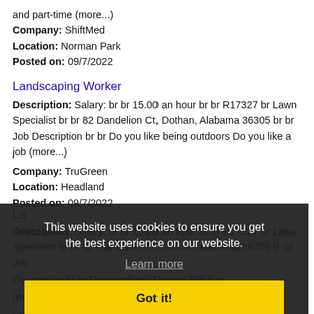and part-time (more...)
Company: ShiftMed
Location: Norman Park
Posted on: 09/7/2022
Landscaping Worker
Description: Salary: br br 15.00 an hour br br R17327 br Lawn Specialist br br 82 Dandelion Ct, Dothan, Alabama 36305 br br Job Description br br Do you like being outdoors Do you like a job (more...)
Company: TruGreen
Location: Headland
Posted on: 09/7/2022
[Figure (screenshot): Cookie consent overlay on dark background saying 'This website uses cookies to ensure you get the best experience on our website.' with a Learn more link and a yellow Got it! button]
Landscaping Worker
Description: Salary: br br 15.00 an hour br br R17327 br Lawn Specialist br br 82 Dandelion Ct, Dothan, Alabama 36305 br br Job Description br br Do you like being outdoors Do you like a job (more...)
Company: TruGreen
Location: Webb
Posted on: 09/7/2022
Landscaping Worker